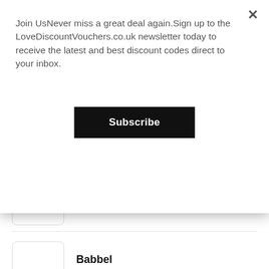Join UsNever miss a great deal again.Sign up to the LoveDiscountVouchers.co.uk newsletter today to receive the latest and best discount codes direct to your inbox.
Subscribe
gjenfly
View 4 offers
Babbel
View 16 offers
SportsShoes
Our website uses cookies and similar technologies to enhance your experience with us. By continuing to use LoveDiscountVouchers.co.uk you agree to the use of these technologies. Read more.